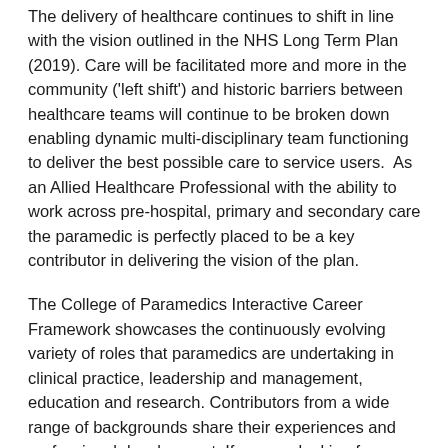The delivery of healthcare continues to shift in line with the vision outlined in the NHS Long Term Plan (2019). Care will be facilitated more and more in the community ('left shift') and historic barriers between healthcare teams will continue to be broken down enabling dynamic multi-disciplinary team functioning to deliver the best possible care to service users.  As an Allied Healthcare Professional with the ability to work across pre-hospital, primary and secondary care the paramedic is perfectly placed to be a key contributor in delivering the vision of the plan.
The College of Paramedics Interactive Career Framework showcases the continuously evolving variety of roles that paramedics are undertaking in clinical practice, leadership and management, education and research. Contributors from a wide range of backgrounds share their experiences and professional development. If you are looking for inspiration you will find it here!